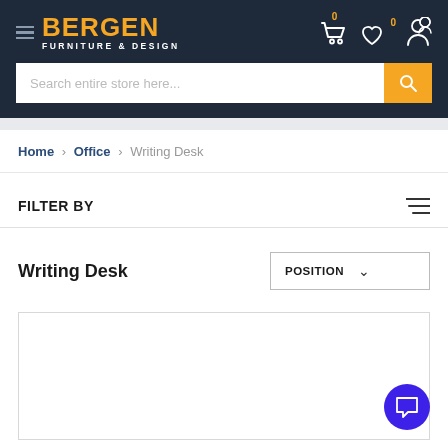Bergen Furniture & Design — header with logo, search bar, cart, wishlist, account icons
Home > Office > Writing Desk
FILTER BY
Writing Desk
POSITION (dropdown)
[Figure (screenshot): Empty product grid area with light border]